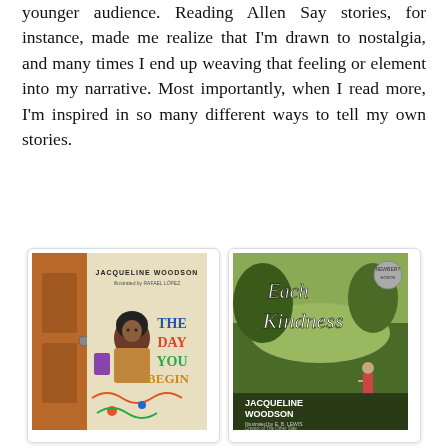younger audience. Reading Allen Say stories, for instance, made me realize that I'm drawn to nostalgia, and many times I end up weaving that feeling or element into my narrative. Most importantly, when I read more, I'm inspired in so many different ways to tell my own stories.
[Figure (photo): Book cover of 'The Day You Begin' by Jacqueline Woodson, illustrated by Rafael López, showing a young girl with an Afro standing at a school door]
[Figure (photo): Book cover of 'Each Kindness' by Jacqueline Woodson, illustrated by E.B. Lewis, showing a child standing in a meadow]
[Figure (photo): Book cover of 'Grandfather's Journey' showing an elderly man in a hat standing on a boat deck]